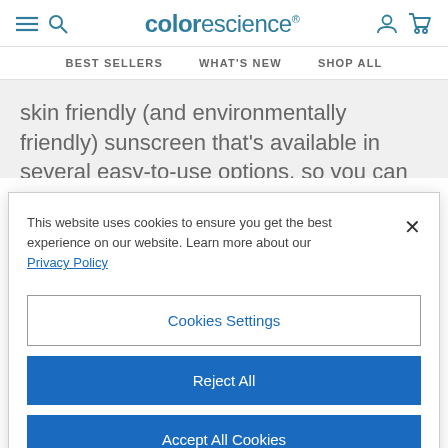colorescience
BEST SELLERS  WHAT'S NEW  SHOP ALL
skin friendly (and environmentally friendly) sunscreen that's available in several easy-to-use options, so you can find the right product for your lifestyle. Whether you're
This website uses cookies to ensure you get the best experience on our website. Learn more about our Privacy Policy
Cookies Settings
Reject All
Accept All Cookies